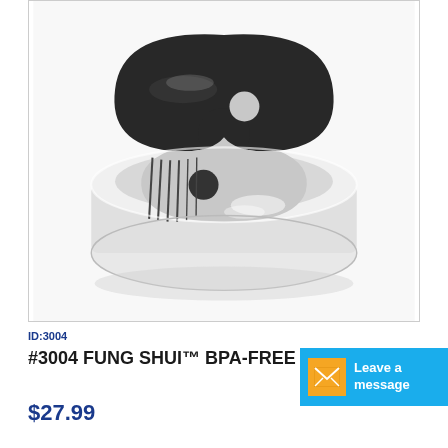[Figure (photo): Product photo of #3004 Fung Shui BPA-Free Premium pet water fountain. Round white base with black yin-yang shaped top component, showing water flowing.]
ID:3004
#3004 FUNG SHUI™ BPA-FREE PREM
$27.99